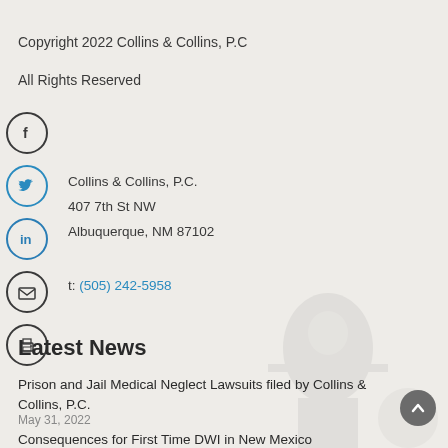Copyright 2022 Collins & Collins, P.C
All Rights Reserved
[Figure (illustration): Social media icon circles: Facebook, Twitter, LinkedIn, Email, Print]
Collins & Collins, P.C.
407 7th St NW
Albuquerque, NM 87102
t: (505) 242-5958
Latest News
Prison and Jail Medical Neglect Lawsuits filed by Collins & Collins, P.C.
May 31, 2022
Consequences for First Time DWI in New Mexico